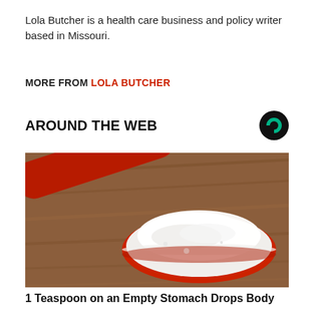Lola Butcher is a health care business and policy writer based in Missouri.
MORE FROM LOLA BUTCHER
AROUND THE WEB
[Figure (photo): A red measuring spoon filled with white powder (flour or similar) resting on a wooden surface.]
1 Teaspoon on an Empty Stomach Drops Body